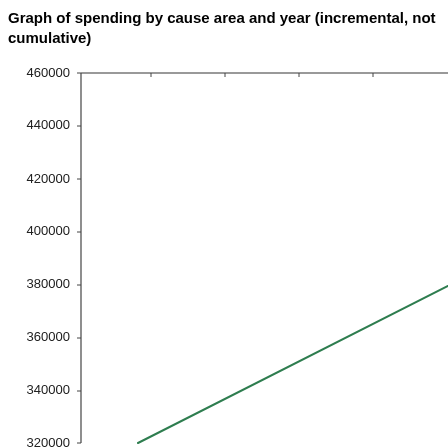Graph of spending by cause area and year (incremental, not cumulative)
[Figure (line-chart): Graph of spending by cause area and year (incremental, not cumulative)]